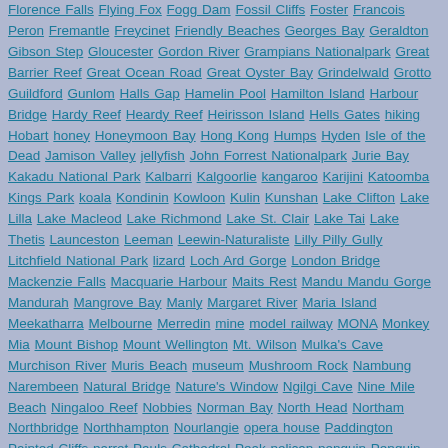Florence Falls Flying Fox Fogg Dam Fossil Cliffs Foster Francois Peron Fremantle Freycinet Friendly Beaches Georges Bay Geraldton Gibson Step Gloucester Gordon River Grampians Nationalpark Great Barrier Reef Great Ocean Road Great Oyster Bay Grindelwald Grotto Guildford Gunlom Halls Gap Hamelin Pool Hamilton Island Harbour Bridge Hardy Reef Heardy Reef Heirisson Island Hells Gates hiking Hobart honey Honeymoon Bay Hong Kong Humps Hyden Isle of the Dead Jamison Valley jellyfish John Forrest Nationalpark Jurie Bay Kakadu National Park Kalbarri Kalgoorlie kangaroo Karijini Katoomba Kings Park koala Kondinin Kowloon Kulin Kunshan Lake Clifton Lake Lilla Lake Macleod Lake Richmond Lake St. Clair Lake Tai Lake Thetis Launceston Leeman Leewin-Naturaliste Lilly Pilly Gully Litchfield National Park lizard Loch Ard Gorge London Bridge Mackenzie Falls Macquarie Harbour Maits Rest Mandu Mandu Gorge Mandurah Mangrove Bay Manly Margaret River Maria Island Meekatharra Melbourne Merredin mine model railway MONA Monkey Mia Mount Bishop Mount Wellington Mt. Wilson Mulka's Cave Murchison River Muris Beach museum Mushroom Rock Nambung Narembeen Natural Bridge Nature's Window Ngilgi Cave Nine Mile Beach Ningaloo Reef Nobbies Norman Bay North Head Northam Northbridge Northhampton Nourlangie opera house Paddington Painted Cliffs parrot Pauls Cathedral Peak pelican penguin Penguin Island Penguin Parade Peron Point Perth Philipp Island pig Pinguin Island